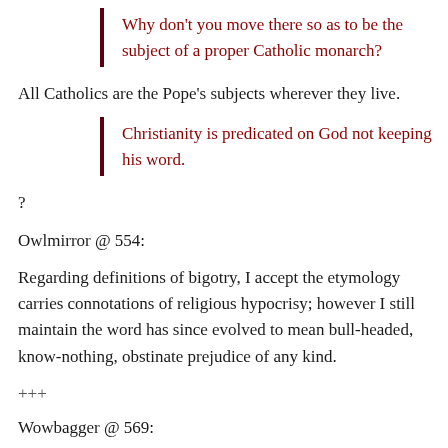Why don't you move there so as to be the subject of a proper Catholic monarch?
All Catholics are the Pope's subjects wherever they live.
Christianity is predicated on God not keeping his word.
?
Owlmirror @ 554:
Regarding definitions of bigotry, I accept the etymology carries connotations of religious hypocrisy; however I still maintain the word has since evolved to mean bull-headed, know-nothing, obstinate prejudice of any kind.
+++
Wowbagger @ 569: